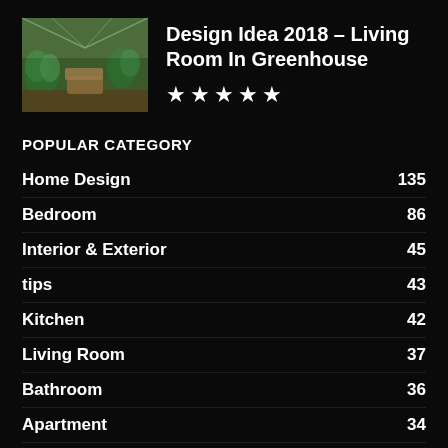[Figure (photo): Thumbnail photo of a living room inside a greenhouse with plants and furniture]
Design Idea 2018 – Living Room In Greenhouse
★★★★★
POPULAR CATEGORY
Home Design 135
Bedroom 86
Interior & Exterior 45
tips 43
Kitchen 42
Living Room 37
Bathroom 36
Apartment 34
Dining Room 29